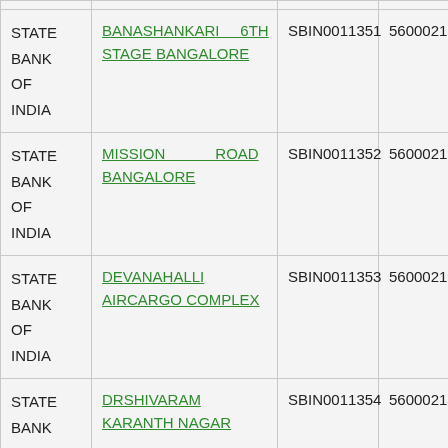| Bank Name | Branch | IFSC Code | MICR Code |
| --- | --- | --- | --- |
| STATE BANK OF INDIA | BANASHANKARI 6TH STAGE BANGALORE | SBIN0011351 | 560002118 |
| STATE BANK OF INDIA | MISSION ROAD BANGALORE | SBIN0011352 | 560002119 |
| STATE BANK OF INDIA | DEVANAHALLI AIRCARGO COMPLEX | SBIN0011353 | 560002133 |
| STATE BANK OF INDIA | DRSHIVARAM KARANTH NAGAR | SBIN0011354 | 560002141 |